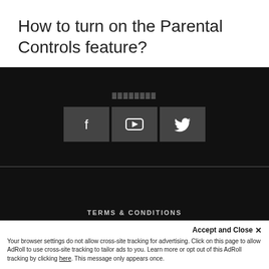How to turn on the Parental Controls feature?
[Figure (screenshot): Dark footer area with social media icons for Facebook, YouTube, and Twitter, followed by footer links: Terms & Conditions, Privacy Policy, Privacy Collection Notice, and copyright notice]
Accept and Close ✕
Your browser settings do not allow cross-site tracking for advertising. Click on this page to allow AdRoll to use cross-site tracking to tailor ads to you. Learn more or opt out of this AdRoll tracking by clicking here. This message only appears once.